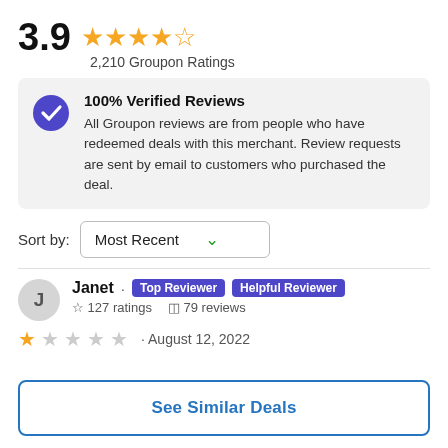3.9  2,210 Groupon Ratings
100% Verified Reviews. All Groupon reviews are from people who have redeemed deals with this merchant. Review requests are sent by email to customers who purchased the deal.
Sort by: Most Recent
Janet · Top Reviewer · Helpful Reviewer · 127 ratings · 79 reviews · August 12, 2022
See Similar Deals